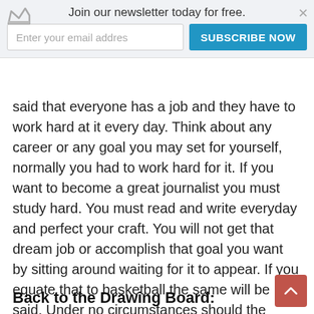Join our newsletter today for free. [input: Enter your email addres] [button: SUBSCRIBE NOW]
said that everyone has a job and they have to work hard at it every day. Think about any career or any goal you may set for yourself, normally you had to work hard for it. If you want to become a great journalist you must study hard. You must read and write everyday and perfect your craft. You will not get that dream job or accomplish that goal you want by sitting around waiting for it to appear. If you equate that to basketball the same will be said. Under no circumstances should the Orlando Magic or Philadelphia 76ers beat a team with John Wall and Bradley Beal on it.
Back to the Drawing Board: